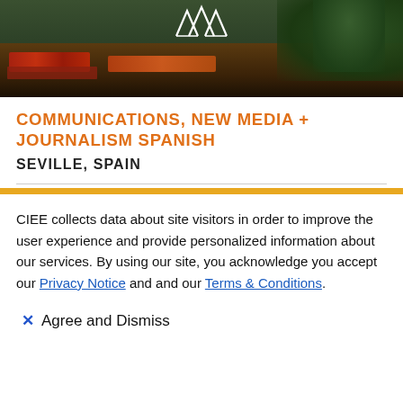[Figure (photo): Hero image showing Seville riverfront at night with moored boats, restaurants, and trees lit in warm tones. White geometric mountain/arch logo at top center.]
COMMUNICATIONS, NEW MEDIA + JOURNALISM SPANISH
SEVILLE, SPAIN
CIEE collects data about site visitors in order to improve the user experience and provide personalized information about our services. By using our site, you acknowledge you accept our Privacy Notice and and our Terms & Conditions.
✕ Agree and Dismiss